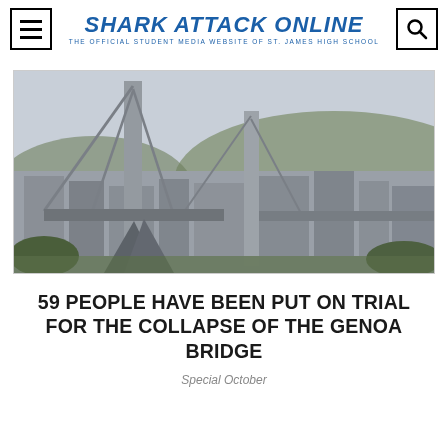SHARK ATTACK ONLINE — The Official Student Media Website of St. James High School
[Figure (photo): A collapsed bridge in Genoa, Italy showing remaining support towers and structural wreckage against a city skyline and hillside backdrop]
59 PEOPLE HAVE BEEN PUT ON TRIAL FOR THE COLLAPSE OF THE GENOA BRIDGE
Special October